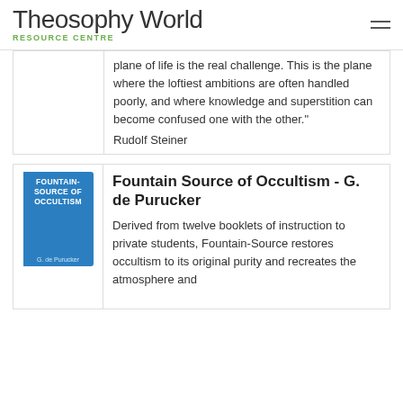Theosophy World RESOURCE CENTRE
plane of life is the real challenge. This is the plane where the loftiest ambitions are often handled poorly, and where knowledge and superstition can become confused one with the other." Rudolf Steiner
Fountain Source of Occultism - G. de Purucker
Derived from twelve booklets of instruction to private students, Fountain-Source restores occultism to its original purity and recreates the atmosphere and